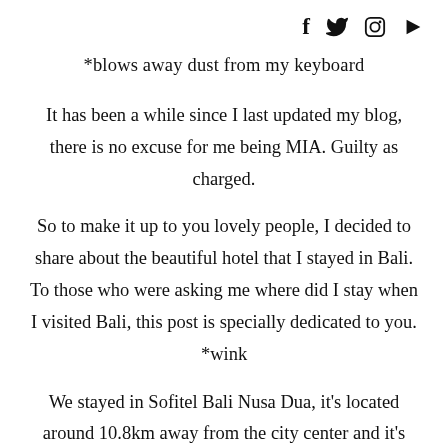f  y  [instagram]  [youtube]
*blows away dust from my keyboard
It has been a while since I last updated my blog, there is no excuse for me being MIA. Guilty as charged.
So to make it up to you lovely people, I decided to share about the beautiful hotel that I stayed in Bali. To those who were asking me where did I stay when I visited Bali, this post is specially dedicated to you. *wink
We stayed in Sofitel Bali Nusa Dua, it's located around 10.8km away from the city center and it's around 15-20 minutes away from the airport. I have never been to Bali but my